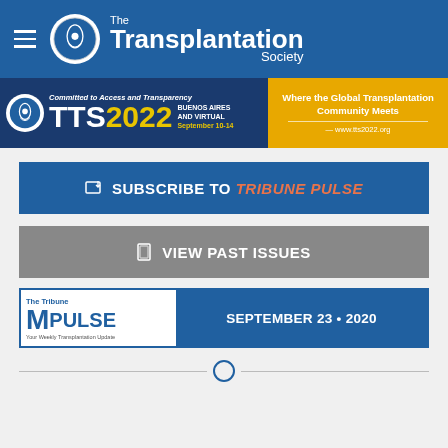The Transplantation Society
[Figure (logo): TTS2022 Buenos Aires and Virtual September 10-14 banner. Left: dark blue section with TTS logo, 'Committed to Access and Transparency', 'TTS2022 Buenos Aires and Virtual September 10-14'. Right: gold/amber section with 'Where the Global Transplantation Community Meets' and www.tts2022.org]
SUBSCRIBE TO TRIBUNE PULSE
VIEW PAST ISSUES
[Figure (logo): The Tribune PULSE - Your Weekly Transplantation Update - SEPTEMBER 23 • 2020]